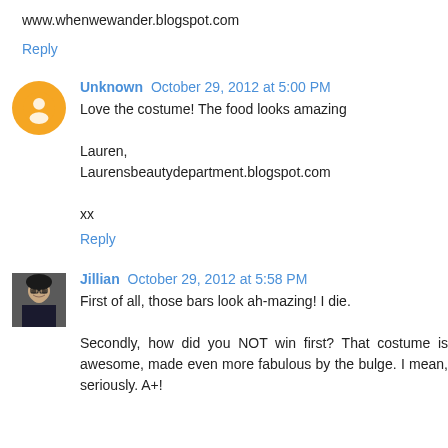www.whenwewander.blogspot.com
Reply
Unknown  October 29, 2012 at 5:00 PM
Love the costume! The food looks amazing

Lauren,
Laurensbeautydepartment.blogspot.com

xx
Reply
Jillian  October 29, 2012 at 5:58 PM
First of all, those bars look ah-mazing! I die.

Secondly, how did you NOT win first? That costume is awesome, made even more fabulous by the bulge. I mean, seriously. A+!